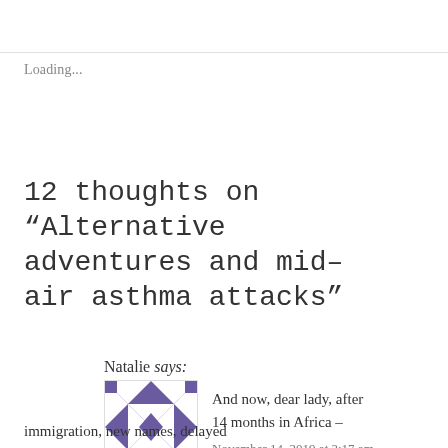Loading...
12 thoughts on “Alternative adventures and mid-air asthma attacks”
Natalie says:
[Figure (illustration): Purple and white geometric quilt-pattern avatar icon]
And now, dear lady, after 14 months in Africa –
November 14, 2019 at 2:17 am
immigration, new names, delayed